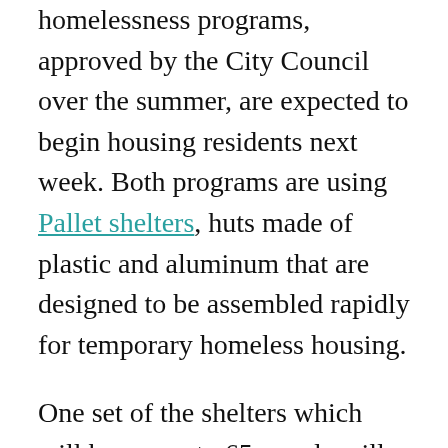homelessness programs, approved by the City Council over the summer, are expected to begin housing residents next week. Both programs are using Pallet shelters, huts made of plastic and aluminum that are designed to be assembled rapidly for temporary homeless housing.
One set of the shelters which will house up to 65 people will be managed by Housing Consortium of the East Bay. The program will include three daily meals and services ranging from housing to mental health help. People already living in tents at the E. 12th Street site and elsewhere in District 2 were prioritized for those shelters.